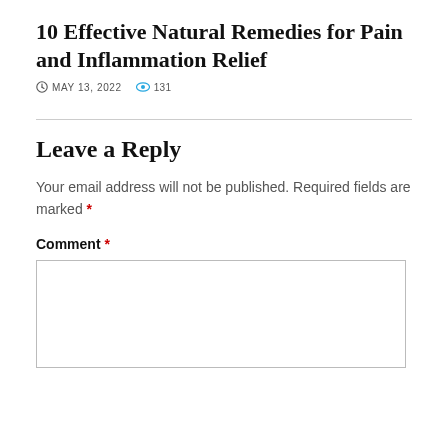10 Effective Natural Remedies for Pain and Inflammation Relief
MAY 13, 2022   131
Leave a Reply
Your email address will not be published. Required fields are marked *
Comment *